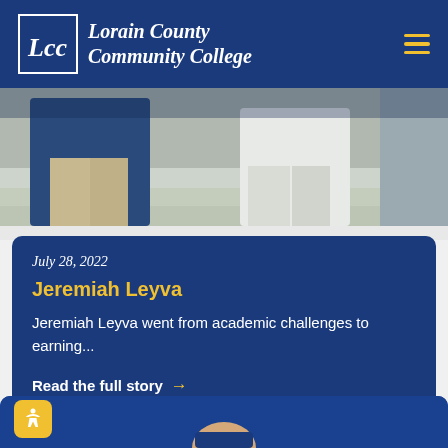Lorain County Community College
[Figure (photo): Two people walking on steps, one wearing a dark blue jacket and the other wearing a white top with light-colored pants]
July 28, 2022
Jeremiah Leyva
Jeremiah Leyva went from academic challenges to earning...
Read the full story →
[Figure (photo): Partial view of a person against a blue background — bottom portion of page]